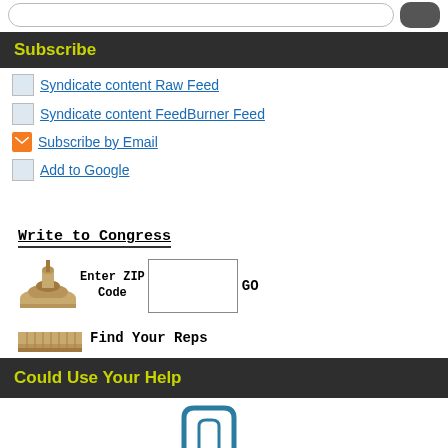Subscribe
Syndicate content Raw Feed
Syndicate content FeedBurner Feed
Subscribe by Email
Add to Google
[Figure (infographic): Write to Congress widget with Capitol building image, ZIP code input field, GO button, and Find Your Reps link]
Could Use Your Help
[Figure (logo): Partial logo/icon visible at bottom of page]